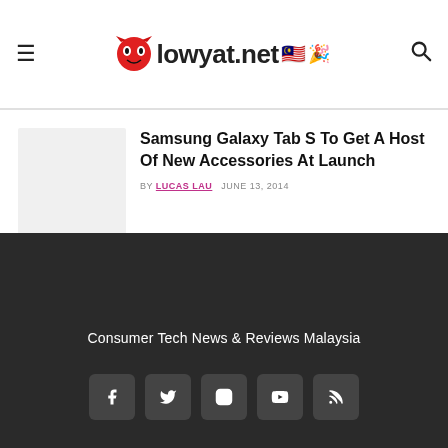lowyat.net
Samsung Galaxy Tab S To Get A Host Of New Accessories At Launch
BY LUCAS LAU   JUNE 13, 2014
[Figure (illustration): Article thumbnail placeholder (light gray rectangle)]
Consumer Tech News & Reviews Malaysia
[Figure (infographic): Social media icons: Facebook, Twitter, Instagram, YouTube, RSS]